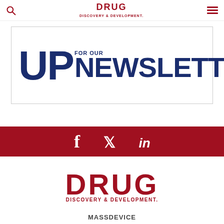Drug Discovery & Development
[Figure (other): Newsletter signup banner with large 'UP FOR OUR NEWSLETTER' text in dark navy blue]
[Figure (infographic): Red social media bar with Facebook, Twitter, and LinkedIn icons in white]
[Figure (logo): Drug Discovery & Development logo in red]
MASSDEVICE